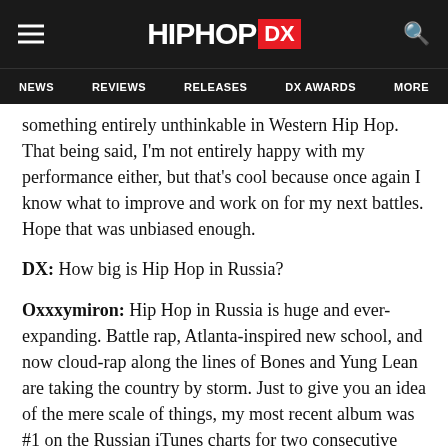HIPHOP DX — NEWS | REVIEWS | RELEASES | DX AWARDS | MORE
something entirely unthinkable in Western Hip Hop. That being said, I'm not entirely happy with my performance either, but that's cool because once again I know what to improve and work on for my next battles. Hope that was unbiased enough.
DX: How big is Hip Hop in Russia?
Oxxxymiron: Hip Hop in Russia is huge and ever-expanding. Battle rap, Atlanta-inspired new school, and now cloud-rap along the lines of Bones and Yung Lean are taking the country by storm. Just to give you an idea of the mere scale of things, my most recent album was #1 on the Russian iTunes charts for two consecutive weeks and I have just played a sold-out solo show to a crowd of 8,000...